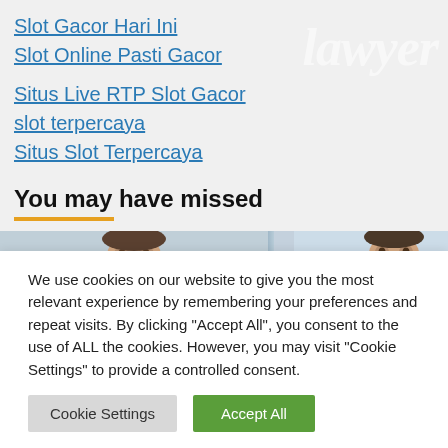Slot Gacor Hari Ini
Slot Online Pasti Gacor
Situs Live RTP Slot Gacor
slot terpercaya
Situs Slot Terpercaya
You may have missed
[Figure (photo): Two professional headshot photos side by side, partially cropped]
We use cookies on our website to give you the most relevant experience by remembering your preferences and repeat visits. By clicking "Accept All", you consent to the use of ALL the cookies. However, you may visit "Cookie Settings" to provide a controlled consent.